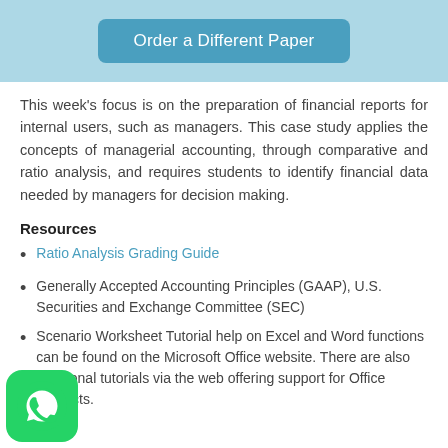[Figure (other): Button banner with light blue background and 'Order a Different Paper' teal button]
This week's focus is on the preparation of financial reports for internal users, such as managers. This case study applies the concepts of managerial accounting, through comparative and ratio analysis, and requires students to identify financial data needed by managers for decision making.
Resources
Ratio Analysis Grading Guide
Generally Accepted Accounting Principles (GAAP), U.S. Securities and Exchange Committee (SEC)
Scenario Worksheet Tutorial help on Excel and Word functions can be found on the Microsoft Office website. There are also additional tutorials via the web offering support for Office products.
[Figure (logo): WhatsApp logo icon — green rounded square with white phone handset icon]